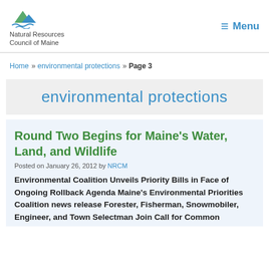Natural Resources Council of Maine | Menu
Home » environmental protections » Page 3
environmental protections
Round Two Begins for Maine's Water, Land, and Wildlife
Posted on January 26, 2012 by NRCM
Environmental Coalition Unveils Priority Bills in Face of Ongoing Rollback Agenda Maine's Environmental Priorities Coalition news release Forester, Fisherman, Snowmobiler, Engineer, and Town Selectman Join Call for Common